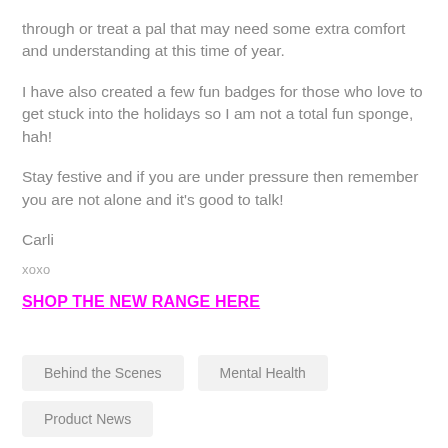through or treat a pal that may need some extra comfort and understanding at this time of year.
I have also created a few fun badges for those who love to get stuck into the holidays so I am not a total fun sponge, hah!
Stay festive and if you are under pressure then remember you are not alone and it's good to talk!
Carli
xoxo
SHOP THE NEW RANGE HERE
Behind the Scenes
Mental Health
Product News